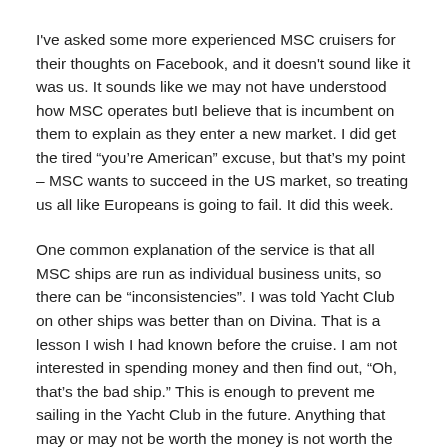I've asked some more experienced MSC cruisers for their thoughts on Facebook, and it doesn't sound like it was us. It sounds like we may not have understood how MSC operates butI believe that is incumbent on them to explain as they enter a new market. I did get the tired “you’re American” excuse, but that’s my point – MSC wants to succeed in the US market, so treating us all like Europeans is going to fail. It did this week.
One common explanation of the service is that all MSC ships are run as individual business units, so there can be “inconsistencies”. I was told Yacht Club on other ships was better than on Divina. That is a lesson I wish I had known before the cruise. I am not interested in spending money and then find out, “Oh, that’s the bad ship.” This is enough to prevent me sailing in the Yacht Club in the future. Anything that may or may not be worth the money is not worth the risk.